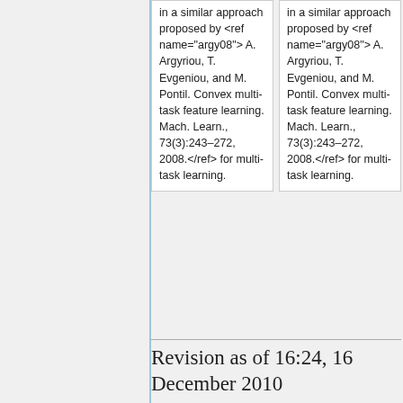| in a similar approach proposed by <ref name="argy08"> A. Argyriou, T. Evgeniou, and M. Pontil. Convex multi-task feature learning. Mach. Learn., 73(3):243–272, 2008.</ref> for multi-task learning. | in a similar approach proposed by <ref name="argy08"> A. Argyriou, T. Evgeniou, and M. Pontil. Convex multi-task feature learning. Mach. Learn., 73(3):243–272, 2008.</ref> for multi-task learning. |
Revision as of 16:24, 16 December 2010
| Contents [hide] |
| --- |
| 1 Introduction |